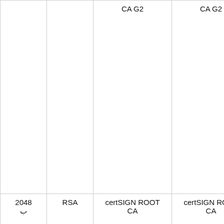|  |  | CA G2 | CA G2 |
| 2048
ب | RSA | certSIGN ROOT CA | certSIGN ROOT CA |